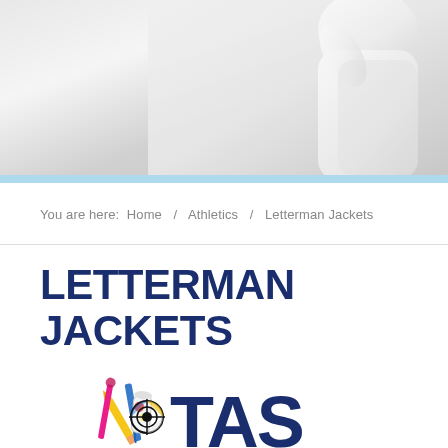[Figure (photo): Hero banner image showing a person in white clothing against a light background, with a light blue horizontal stripe below]
You are here:  Home  /  Athletics  /  Letterman Jackets
LETTERMAN JACKETS
[Figure (logo): TAS logo with colorful art supplies (pencils, scissors, paint) graphic on the left side of bold blue TAS letters]